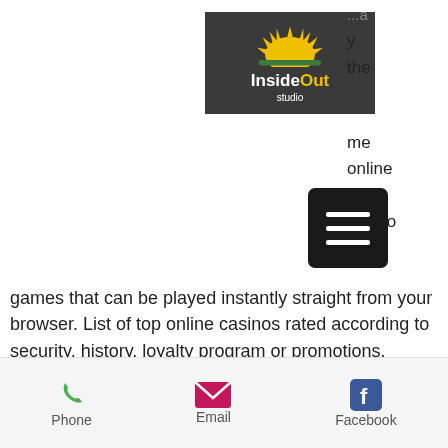[Figure (logo): InsideOut Studio logo: dark background with yellow sun graphic and white/yellow text]
...a y the me online ired casino games that can be played instantly straight from your browser. List of top online casinos rated according to security, history, loyalty program or promotions.
Today's casino winners:
Wild Spartans - 234.9 btc
Robo Smash - 205.8 btc
Mega Power Heroes - 622.4 bch
Aura of Jupiter moorhuhn Shooter - 603 ltc
Titan Storm - 166.7 usdt
Phone   Email   Facebook